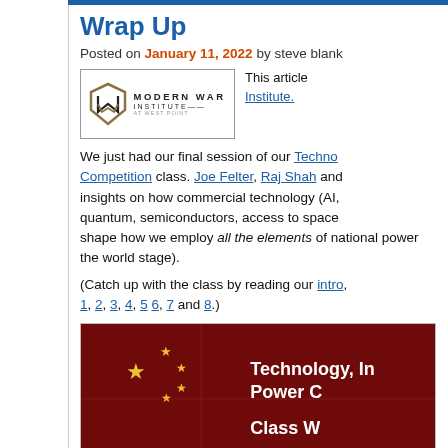Wrap Up
Posted on January 11, 2022 by steve blank
[Figure (logo): Modern War Institute at West Point logo inside a bordered box]
This article [published at the Modern War Institute.]
We just had our final session of our Technology, Innovation and Great Power Competition class. Joe Felter, Raj Shah and [others] insights on how commercial technology (AI, quantum, semiconductors, access to space...) shape how we employ all the elements of national power on the world stage).
(Catch up with the class by reading our intro, 1, 2, 3, 4, 5 6, 7 and 8.)
[Figure (photo): Image showing Chinese flag background with bold white text: Technology, In[novation and Great] Power C[ompetition] / Class W[rap Up]]